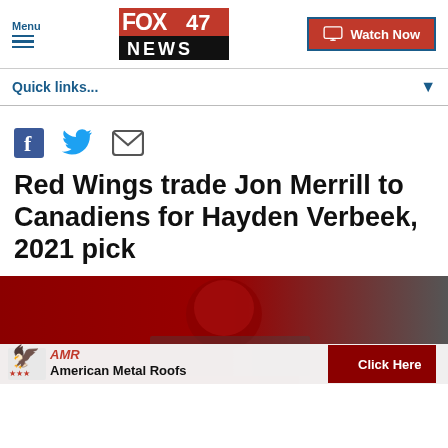FOX 47 NEWS
Quick links...
[Figure (other): Social sharing icons: Facebook, Twitter, Email]
Red Wings trade Jon Merrill to Canadiens for Hayden Verbeek, 2021 pick
[Figure (photo): News article image with American Metal Roofs advertisement overlay showing eagle logo, AMR text, 'American Metal Roofs' text, and a red 'Click Here' button]